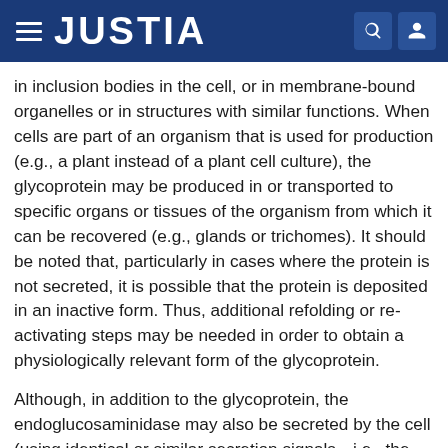JUSTIA
in inclusion bodies in the cell, or in membrane-bound organelles or in structures with similar functions. When cells are part of an organism that is used for production (e.g., a plant instead of a plant cell culture), the glycoprotein may be produced in or transported to specific organs or tissues of the organism from which it can be recovered (e.g., glands or trichomes). It should be noted that, particularly in cases where the protein is not secreted, it is possible that the protein is deposited in an inactive form. Thus, additional refolding or re-activating steps may be needed in order to obtain a physiologically relevant form of the glycoprotein.
Although, in addition to the glycoprotein, the endoglucosaminidase may also be secreted by the cell (using identical or similar secretion signals—i.e., the remarks on secretion signals for glycoproteins also